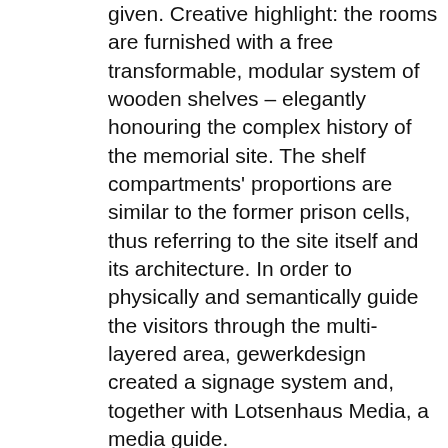given. Creative highlight: the rooms are furnished with a free transformable, modular system of wooden shelves – elegantly honouring the complex history of the memorial site. The shelf compartments' proportions are similar to the former prison cells, thus referring to the site itself and its architecture. In order to physically and semantically guide the visitors through the multi-layered area, gewerkdesign created a signage system and, together with Lotsenhaus Media, a media guide.
Portfolio / Range of Services: Exhibition design and planning, implementation planning, concept development for the display,